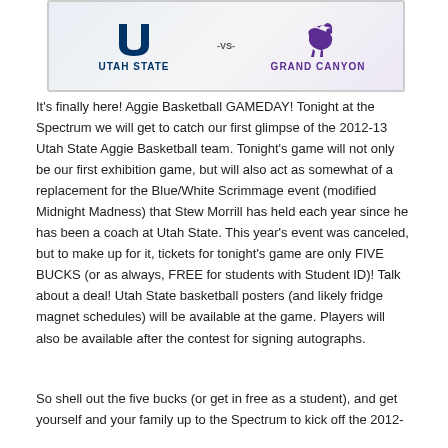[Figure (illustration): Game day banner showing Utah State vs Grand Canyon basketball teams. Left side shows Utah State 'U' logo in dark blue with 'UTAH STATE' text in navy. Center shows '-VS-'. Right side shows Grand Canyon antelope logo in purple with 'GRAND CANYON' text in purple.]
It's finally here! Aggie Basketball GAMEDAY! Tonight at the Spectrum we will get to catch our first glimpse of the 2012-13 Utah State Aggie Basketball team. Tonight's game will not only be our first exhibition game, but will also act as somewhat of a replacement for the Blue/White Scrimmage event (modified Midnight Madness) that Stew Morrill has held each year since he has been a coach at Utah State. This year's event was canceled, but to make up for it, tickets for tonight's game are only FIVE BUCKS (or as always, FREE for students with Student ID)! Talk about a deal! Utah State basketball posters (and likely fridge magnet schedules) will be available at the game. Players will also be available after the contest for signing autographs.
So shell out the five bucks (or get in free as a student), and get yourself and your family up to the Spectrum to kick off the 2012-